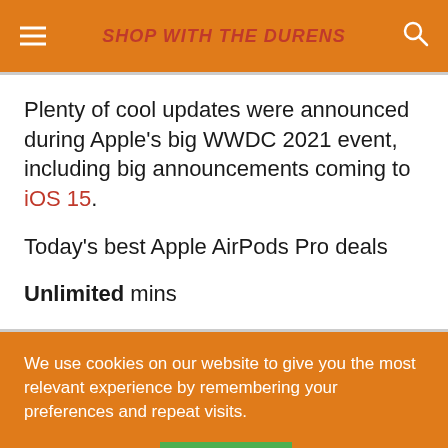SHOP WITH THE DURENS
Plenty of cool updates were announced during Apple's big WWDC 2021 event, including big announcements coming to iOS 15.
Today's best Apple AirPods Pro deals
Unlimited mins
We use cookies on our website to give you the most relevant experience by remembering your preferences and repeat visits.
Cookie settings
ACCEPT